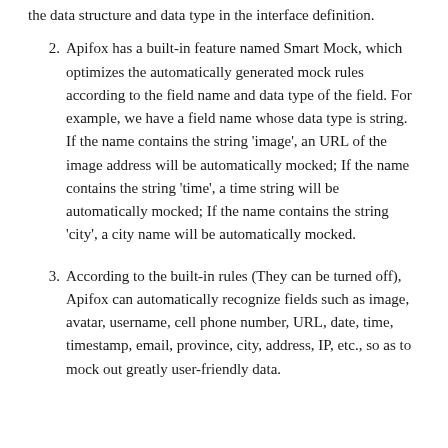the data structure and data type in the interface definition.
Apifox has a built-in feature named Smart Mock, which optimizes the automatically generated mock rules according to the field name and data type of the field. For example, we have a field name whose data type is string. If the name contains the string 'image', an URL of the image address will be automatically mocked; If the name contains the string 'time', a time string will be automatically mocked; If the name contains the string 'city', a city name will be automatically mocked.
According to the built-in rules (They can be turned off), Apifox can automatically recognize fields such as image, avatar, username, cell phone number, URL, date, time, timestamp, email, province, city, address, IP, etc., so as to mock out greatly user-friendly data.